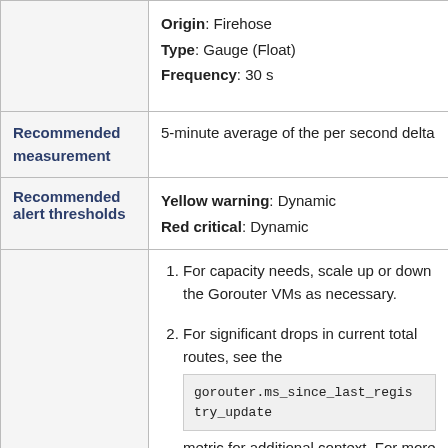|  |  |
| --- | --- |
|  | Origin: Firehose
Type: Gauge (Float)
Frequency: 30 s |
| Recommended measurement | 5-minute average of the per second delta |
| Recommended alert thresholds | Yellow warning: Dynamic
Red critical: Dynamic |
|  | 1. For capacity needs, scale up or down the Gorouter VMs as necessary.
2. For significant drops in current total routes, see the gorouter.ms_since_last_registry_update metric for additional context. For more information, see Time Since Last Route Register Received |